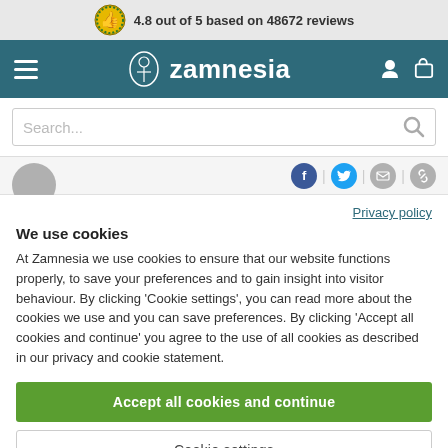4.8 out of 5 based on 48672 reviews
[Figure (logo): Zamnesia logo with navigation bar including hamburger menu, brand name, user and cart icons]
[Figure (screenshot): Search bar with placeholder text 'Search...' and magnifying glass icon]
[Figure (infographic): Social share icons: Facebook, Twitter, email, link]
Privacy policy
We use cookies
At Zamnesia we use cookies to ensure that our website functions properly, to save your preferences and to gain insight into visitor behaviour. By clicking 'Cookie settings', you can read more about the cookies we use and you can save preferences. By clicking 'Accept all cookies and continue' you agree to the use of all cookies as described in our privacy and cookie statement.
Accept all cookies and continue
Cookie settings